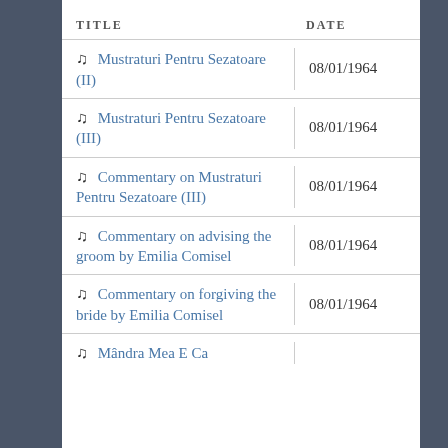| TITLE | DATE |
| --- | --- |
| ♫ Mustraturi Pentru Sezatoare (II) | 08/01/1964 |
| ♫ Mustraturi Pentru Sezatoare (III) | 08/01/1964 |
| ♫ Commentary on Mustraturi Pentru Sezatoare (III) | 08/01/1964 |
| ♫ Commentary on advising the groom by Emilia Comisel | 08/01/1964 |
| ♫ Commentary on forgiving the bride by Emilia Comisel | 08/01/1964 |
| ♫ Mândra Mea E Ca |  |